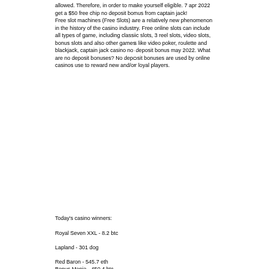allowed. Therefore, in order to make yourself eligible. 7 apr 2022 get a $50 free chip no deposit bonus from captain jack! Free slot machines (Free Slots) are a relatively new phenomenon in the history of the casino industry. Free online slots can include all types of game, including classic slots, 3 reel slots, video slots, bonus slots and also other games like video poker, roulette and blackjack, captain jack casino no deposit bonus may 2022. What are no deposit bonuses? No deposit bonuses are used by online casinos use to reward new and/or loyal players.
Today's casino winners:
Royal Seven XXL - 8.2 btc
Lapland - 301 dog
Red Baron - 545.7 eth
Bonus Mania - 450.4 btc